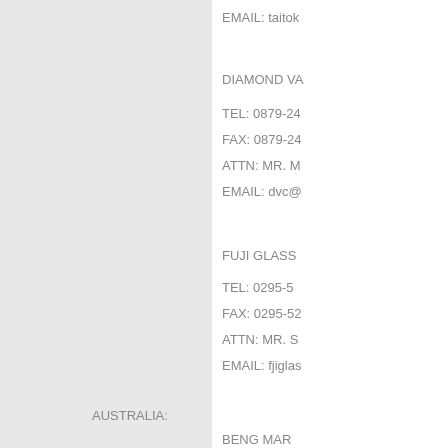EMAIL: taitok
DIAMOND VA
TEL: 0879-24
FAX: 0879-24
ATTN: MR. M
EMAIL: dvc@
FUJI GLASS
TEL:  0295-5
FAX: 0295-52
ATTN: MR. S
EMAIL: fjiglas
AUSTRALIA:
BENG MAR
TEL: 61-2